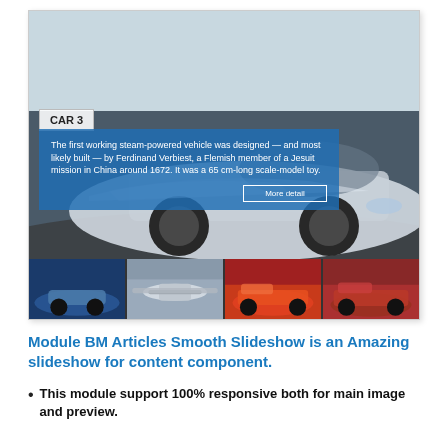[Figure (screenshot): A slideshow UI showing a silver BMW i8 convertible sports car with a 'CAR 3' label and a blue semi-transparent overlay panel with descriptive text about steam-powered vehicles and a 'More detail' button. Below the main image is a thumbnail strip with four smaller car images.]
Module BM Articles Smooth Slideshow is an Amazing slideshow for content component.
This module support 100% responsive both for main image and preview.